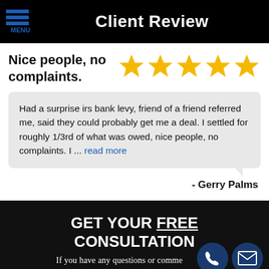Client Review
Nice people, no complaints.
[Figure (other): 5 gold star rating icons]
Had a surprise irs bank levy, friend of a friend referred me, said they could probably get me a deal. I settled for roughly 1/3rd of what was owed, nice people, no complaints. I ... read more
- Gerry Palms
GET YOUR FREE CONSULTATION
If you have any questions or comments please contact the following for more information from